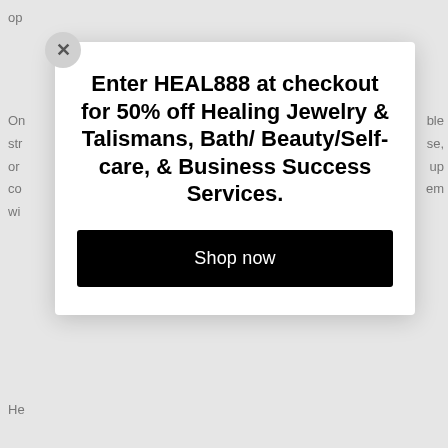op
On str or co wi
ble se, up em
He
Co
Fu
Cr
1
1
1
1
[Figure (screenshot): Promotional modal overlay with close button (X), bold headline 'Enter HEAL888 at checkout for 50% off Healing Jewelry & Talismans, Bath/ Beauty/Self-care, & Business Success Services.' and a black 'Shop now' button.]